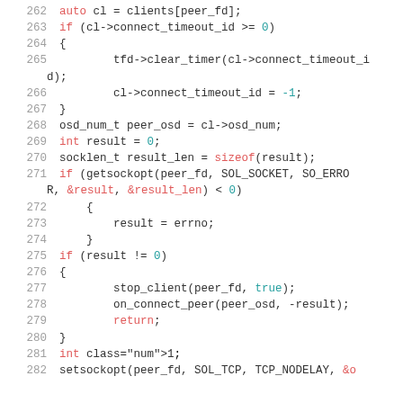[Figure (screenshot): Source code listing showing C++ code lines 262-282, syntax highlighted with line numbers, on white background.]